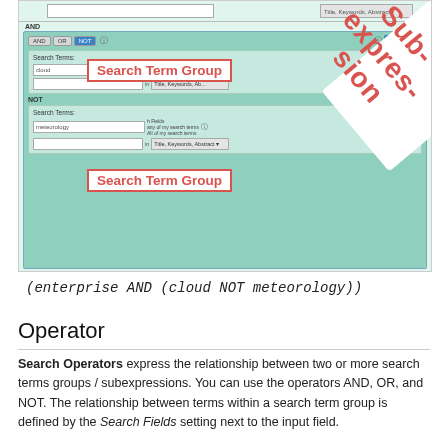[Figure (screenshot): Screenshot of a search interface showing two Search Term Groups within an AND subexpression. The first group contains 'cloud' and the second contains 'meteorology'. Labels point to 'Search Term Group' and a diagonal 'Subexpression' label overlays the panel.]
Operator
Search Operators express the relationship between two or more search terms groups / subexpressions. You can use the operators AND, OR, and NOT. The relationship between terms within a search term group is defined by the Search Fields setting next to the input field.